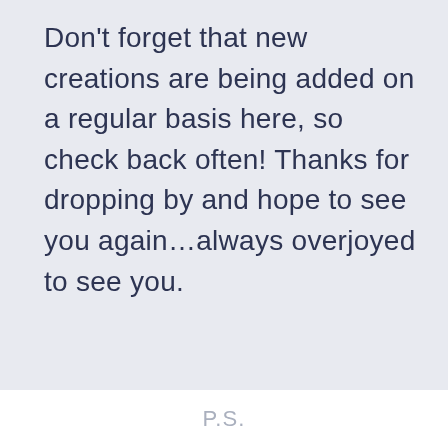Don't forget that new creations are being added on a regular basis here, so check back often! Thanks for dropping by and hope to see you again…always overjoyed to see you.
P.S.